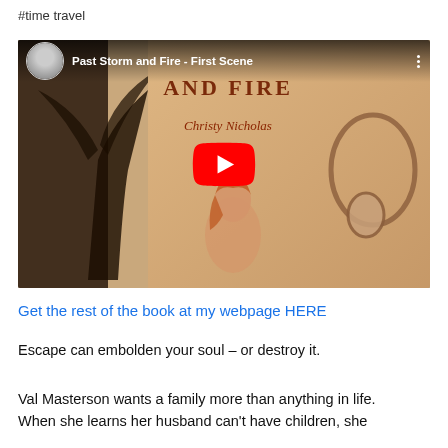#time travel
[Figure (screenshot): YouTube video thumbnail showing 'Past Storm and Fire - First Scene' by Christy Nicholas. Black background with book cover art featuring a young woman with red hair, a palm tree, and headphones. Red YouTube play button in center. Small avatar of author in top left.]
Get the rest of the book at my webpage HERE
Escape can embolden your soul – or destroy it.
Val Masterson wants a family more than anything in life. When she learns her husband can't have children, she